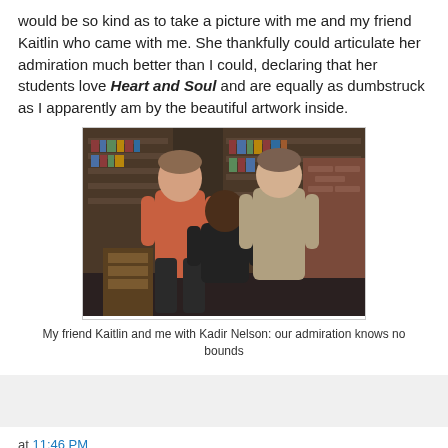would be so kind as to take a picture with me and my friend Kaitlin who came with me. She thankfully could articulate her admiration much better than I could, declaring that her students love Heart and Soul and are equally as dumbstruck as I apparently am by the beautiful artwork inside.
[Figure (photo): Three people posing together in a bookstore: a young woman in a red/orange top on the left, a man in a dark suit crouching in the center, and a woman in a tan/beige top on the right. Bookshelves visible in the background.]
My friend Kaitlin and me with Kadir Nelson: our admiration knows no bounds
at 11:46 PM